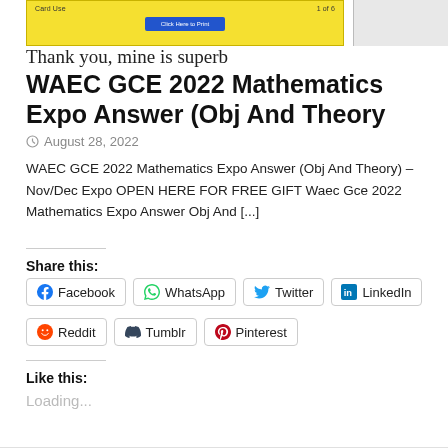[Figure (screenshot): Partial screenshot of a document/form with yellow background and 'Thank you, mine is superb' text below]
WAEC GCE 2022 Mathematics Expo Answer (Obj And Theory
August 28, 2022
WAEC GCE 2022 Mathematics Expo Answer (Obj And Theory) – Nov/Dec Expo OPEN HERE FOR FREE GIFT Waec Gce 2022 Mathematics Expo Answer Obj And [...]
Share this:
Facebook  WhatsApp  Twitter  LinkedIn  Reddit  Tumblr  Pinterest
Like this:
Loading...